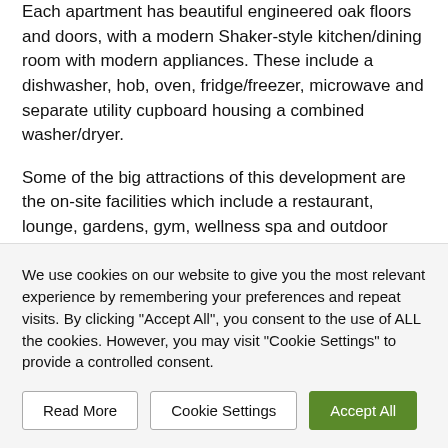Each apartment has beautiful engineered oak floors and doors, with a modern Shaker-style kitchen/dining room with modern appliances. These include a dishwasher, hob, oven, fridge/freezer, microwave and separate utility cupboard housing a combined washer/dryer.
Some of the big attractions of this development are the on-site facilities which include a restaurant, lounge, gardens, gym, wellness spa and outdoor swimming pond. The development provides a guest suite too which can be booked for when family and friends come to stay.
The development benefits from support services including an on-site development manager and a 24 hour emergency...
We use cookies on our website to give you the most relevant experience by remembering your preferences and repeat visits. By clicking "Accept All", you consent to the use of ALL the cookies. However, you may visit "Cookie Settings" to provide a controlled consent.